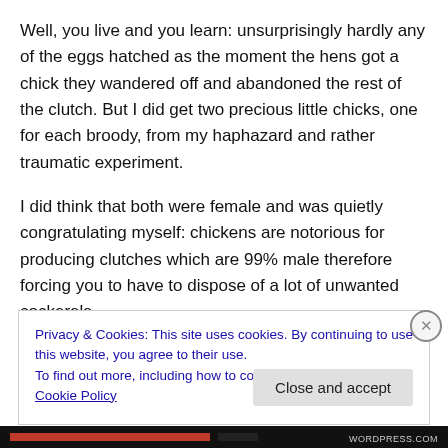Well, you live and you learn: unsurprisingly hardly any of the eggs hatched as the moment the hens got a chick they wandered off and abandoned the rest of the clutch. But I did get two precious little chicks, one for each broody, from my haphazard and rather traumatic experiment.
I did think that both were female and was quietly congratulating myself: chickens are notorious for producing clutches which are 99% male therefore forcing you to have to dispose of a lot of unwanted cockerels.
Privacy & Cookies: This site uses cookies. By continuing to use this website, you agree to their use.
To find out more, including how to control cookies, see here: Cookie Policy